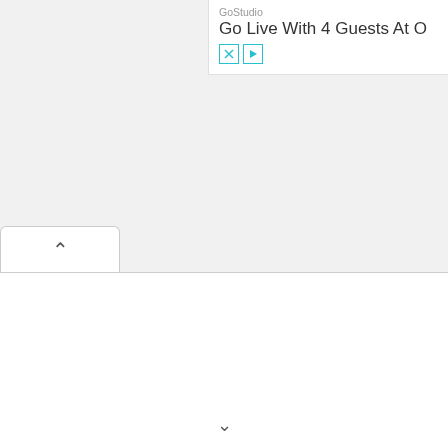[Figure (screenshot): Partial ad banner in upper right showing GoStudio brand name and 'Go Live With 4 Guests At O' headline with close (X) and play button controls]
[Figure (screenshot): Browser UI element: a tab with an upward chevron arrow indicating a collapsed or minimized panel, with a white content area below and a downward chevron at the bottom center]